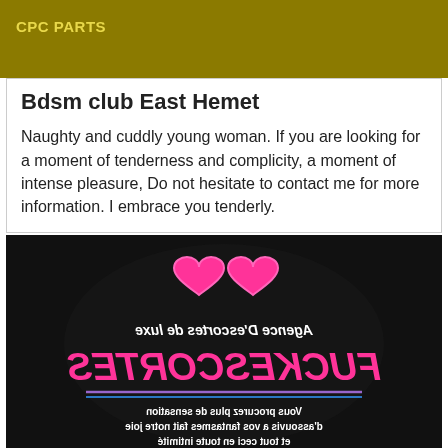CPC PARTS
Bdsm club East Hemet
Naughty and cuddly young woman. If you are looking for a moment of tenderness and complicity, a moment of intense pleasure, Do not hesitate to contact me for more information. I embrace you tenderly.
[Figure (photo): Advertisement image on black background with two pink heart emojis, mirrored text reading 'Agence D'escortes de luxe' and 'FUCKESCORTES', decorative lines, and mirrored French text at bottom reading 'Vous procurez plus de sensation d'assouvis a vos fantasmes fait notre joie et tout ceci en toute intimite']